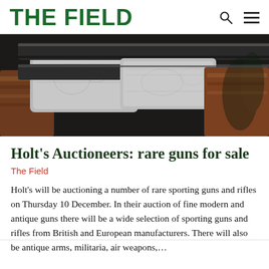THE FIELD
[Figure (photo): Close-up photograph of ornately engraved shotgun barrels and actions with wooden stocks, showing fine British or European sporting guns with decorative scrollwork engraving on silver/grey metalwork.]
Holt's Auctioneers: rare guns for sale
The Field
Holt's will be auctioning a number of rare sporting guns and rifles on Thursday 10 December. In their auction of fine modern and antique guns there will be a wide selection of sporting guns and rifles from British and European manufacturers. There will also be antique arms, militaria, air weapons,...